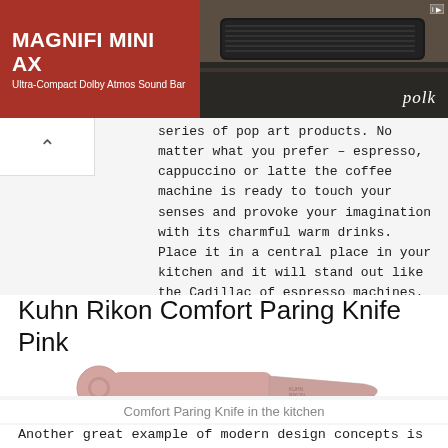[Figure (photo): Advertisement banner for Polk Audio Magnifi Mini AX Ultra-Compact Dolby Atmos Sound Bar. Left side has dark red/brown background with white bold text. Right side shows a black sound bar on a shelf with 'polk' logo.]
series of pop art products. No matter what you prefer – espresso, cappuccino or latte the coffee machine is ready to touch your senses and provoke your imagination with its charmful warm drinks. Place it in a central place in your kitchen and it will stand out like the Cadillac of espresso machines.
Kuhn Rikon Comfort Paring Knife Pink
[Figure (photo): A pink Kuhn Rikon comfort paring knife with round hole handle, shown with its matching pink protective sheath/cover below it.]
Comfort Paring Knife in the kitchen
Another great example of modern design concepts is this beautiful pink stainless steel kitchen knife.